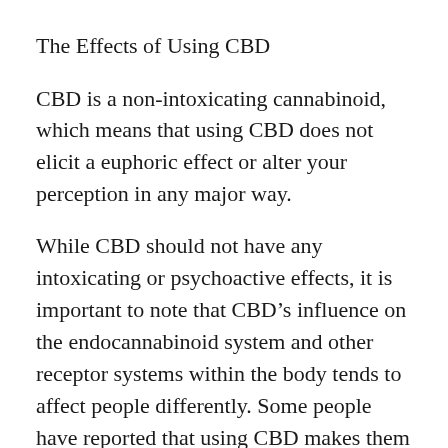The Effects of Using CBD
CBD is a non-intoxicating cannabinoid, which means that using CBD does not elicit a euphoric effect or alter your perception in any major way.
While CBD should not have any intoxicating or psychoactive effects, it is important to note that CBD’s influence on the endocannabinoid system and other receptor systems within the body tends to affect people differently. Some people have reported that using CBD makes them feel “in the flow, or that they have a “sense of serenity.” Others have noted that after using CBD products they tend to feel “more awake” or “energized.” The main takeaway is that when manufactured using responsible and clean